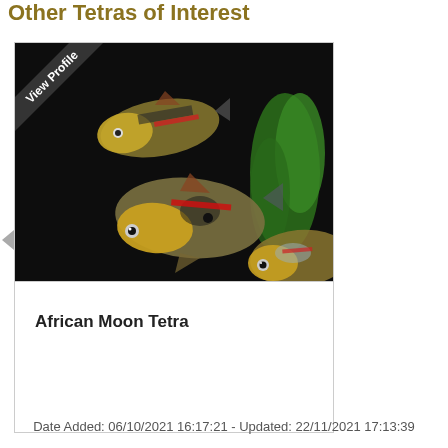Other Tetras of Interest
[Figure (photo): Photograph of African Moon Tetra fish in a dark aquarium with green plants. Two fish visible with reddish and silvery coloring. A diagonal 'View Profile' ribbon badge overlays the top-left corner.]
African Moon Tetra
Date Added: 06/10/2021 16:17:21 - Updated: 22/11/2021 17:13:39